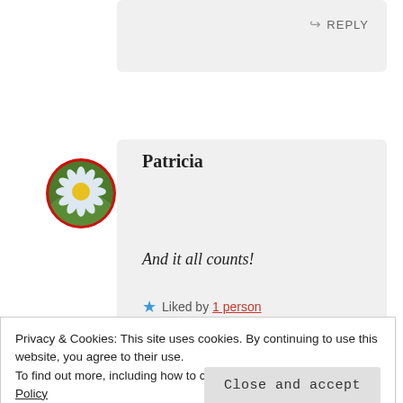↪ REPLY
[Figure (photo): Circular avatar photo of a daisy flower with white petals and yellow center, with a red circular border]
Patricia
And it all counts!
★ Liked by 1 person
⊙ JUNE 2, 2016 AT 1:24 PM
Privacy & Cookies: This site uses cookies. By continuing to use this website, you agree to their use.
To find out more, including how to control cookies, see here: Cookie Policy
Close and accept